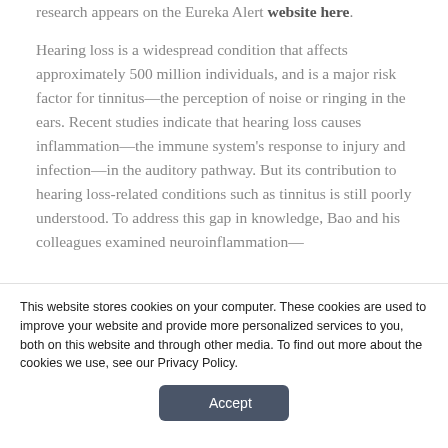research appears on the Eureka Alert website here.
Hearing loss is a widespread condition that affects approximately 500 million individuals, and is a major risk factor for tinnitus—the perception of noise or ringing in the ears. Recent studies indicate that hearing loss causes inflammation—the immune system's response to injury and infection—in the auditory pathway. But its contribution to hearing loss-related conditions such as tinnitus is still poorly understood. To address this gap in knowledge, Bao and his colleagues examined neuroinflammation—
This website stores cookies on your computer. These cookies are used to improve your website and provide more personalized services to you, both on this website and through other media. To find out more about the cookies we use, see our Privacy Policy.